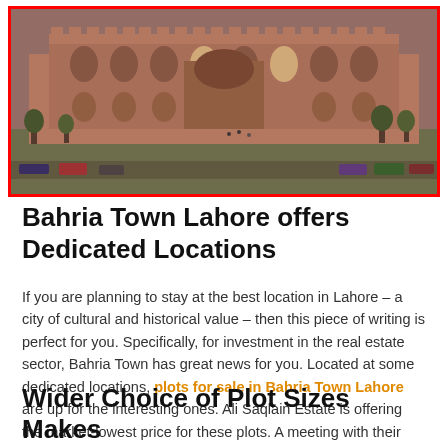[Figure (photo): Aerial view of a large Mughal-era fort or mosque (likely Lahore Fort or Badshahi Mosque area) with red sandstone architecture, arched gateways, green lawns, trees, and cars on the street in front. The image is bordered by a red rectangle outline.]
Bahria Town Lahore offers Dedicated Locations
If you are planning to stay at the best location in Lahore – a city of cultural and historical value – then this piece of writing is perfect for you. Specifically, for investment in the real estate sector, Bahria Town has great news for you. Located at some dedicated locations, plots for sale in Bahria Town Lahore are up for the interesting ones. Ali Saqlain Estate is offering the market-lowest price for these plots. A meeting with their seasoned consultants can save you a lot of money.
Wider Choice of Plot Sizes Makes